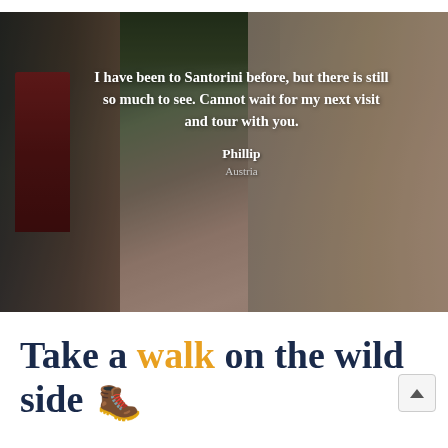[Figure (photo): Photo of a narrow stone alleyway in Santorini with a red door on the left, rocky walls, green foliage at top, and a sandy/beige wall on the right. Overlaid with a testimonial quote.]
I have been to Santorini before, but there is still so much to see. Cannot wait for my next visit and tour with you.
Phillip
Austria
Take a walk on the wild side 🥾